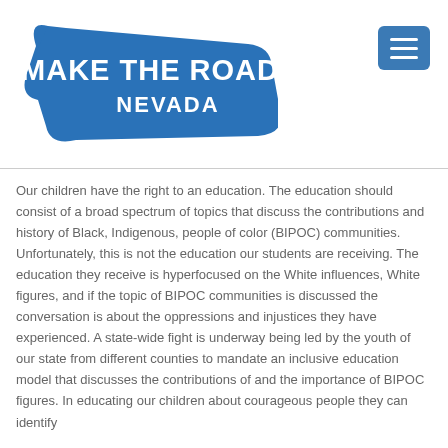[Figure (logo): Make The Road Nevada logo — blue banner/ribbon shape with white text reading MAKE THE ROAD NEVADA]
Our children have the right to an education. The education should consist of a broad spectrum of topics that discuss the contributions and history of Black, Indigenous, people of color (BIPOC) communities. Unfortunately, this is not the education our students are receiving. The education they receive is hyperfocused on the White influences, White figures, and if the topic of BIPOC communities is discussed the conversation is about the oppressions and injustices they have experienced. A state-wide fight is underway being led by the youth of our state from different counties to mandate an inclusive education model that discusses the contributions of and the importance of BIPOC figures. In educating our children about courageous people they can identify